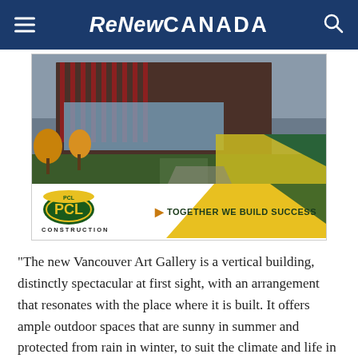ReNew CANADA
[Figure (photo): PCL Construction advertisement showing a modern building exterior with red and glass facade, yellow autumn trees, and green-highlighted courtyard path. PCL logo with 'CONSTRUCTION' text and tagline 'TOGETHER WE BUILD SUCCESS'.]
“The new Vancouver Art Gallery is a vertical building, distinctly spectacular at first sight, with an arrangement that resonates with the place where it is built. It offers ample outdoor spaces that are sunny in summer and protected from rain in winter, to suit the climate and life in British Columbia. Visitors to the building will be able to perceive Vancouver’s urbanity and its amazing natural